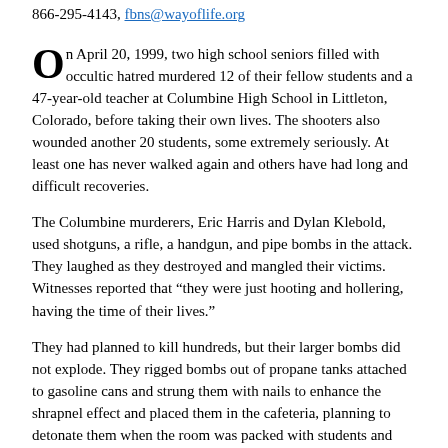866-295-4143, fbns@wayoflife.org
On April 20, 1999, two high school seniors filled with occultic hatred murdered 12 of their fellow students and a 47-year-old teacher at Columbine High School in Littleton, Colorado, before taking their own lives. The shooters also wounded another 20 students, some extremely seriously. At least one has never walked again and others have had long and difficult recoveries.
The Columbine murderers, Eric Harris and Dylan Klebold, used shotguns, a rifle, a handgun, and pipe bombs in the attack. They laughed as they destroyed and mangled their victims. Witnesses reported that “they were just hooting and hollering, having the time of their lives.”
They had planned to kill hundreds, but their larger bombs did not explode. They rigged bombs out of propane tanks attached to gasoline cans and strung them with nails to enhance the shrapnel effect and placed them in the cafeteria, planning to detonate them when the room was packed with students and teachers at the height of the lunch period. They also used further improvised bullets called castles and fl...